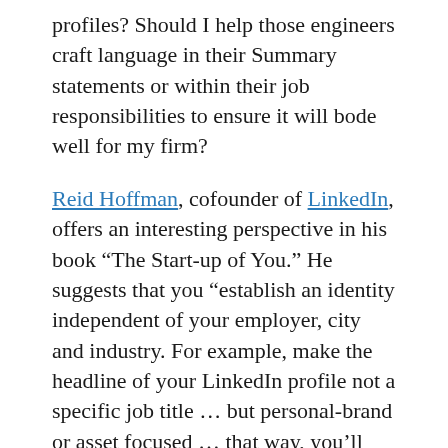profiles? Should I help those engineers craft language in their Summary statements or within their job responsibilities to ensure it will bode well for my firm?
Reid Hoffman, cofounder of LinkedIn, offers an interesting perspective in his book “The Start-up of You.” He suggests that you “establish an identity independent of your employer, city and industry. For example, make the headline of your LinkedIn profile not a specific job title … but personal-brand or asset focused … that way, you’ll have a professional identity that can carry with you as you shift jobs. You own yourself.”